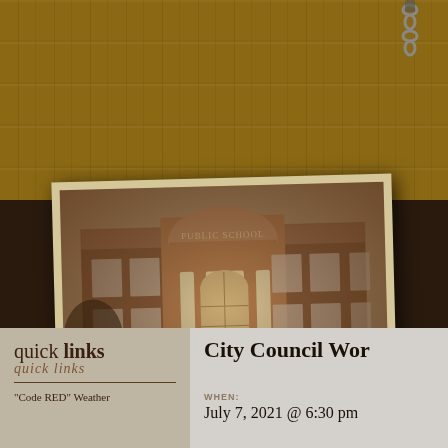[Figure (photo): Sepia-toned vintage photograph of a brick school building with classical columns and an arched entrance, displayed as a tilted polaroid print against a dark brown background with wood-grain texture above]
quick links
quick links (script handwriting)
"Code RED" Weather
City Council Wor
WHEN:
July 7, 2021 @ 6:30 pm